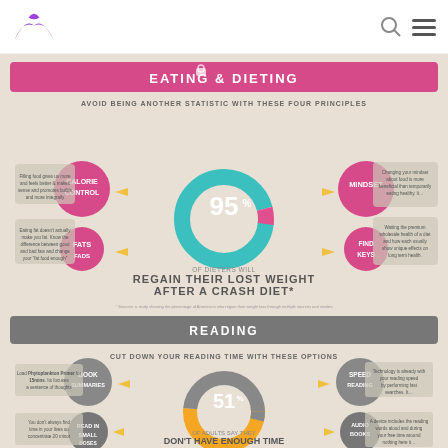Website header with logo, search icon, and menu icon
[Figure (infographic): Infographic showing two sections: 'Eating & Dieting' with a donut chart showing 95% of dieters regain their lost weight after a crash diet, with four principles around it (Calorie Control, Mindset, Fats, Find Keys); and 'Reading' section with a donut chart showing 51% of adults say they don't have enough time to read, with options around it (Book Summaries, Speed Reading, Read in Small Doses, Audiobooks). Subtitle: 'Avoid being another statistic with these four principles' and 'Cut down your reading time with these options'.]